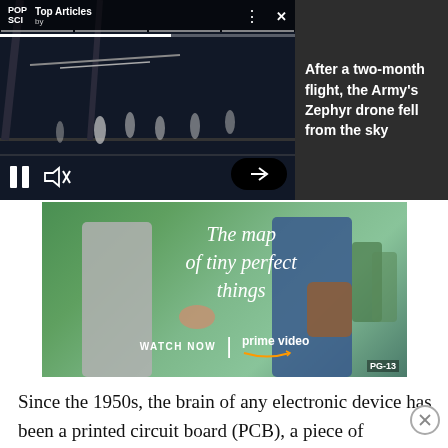[Figure (screenshot): POP SCI Top Articles video player showing drone footage of people on a basketball court at night, with pause and mute controls visible]
After a two-month flight, the Army's Zephyr drone fell from the sky
[Figure (photo): Amazon Prime Video advertisement for 'The map of tiny perfect things' showing two young people holding hands, with text 'WATCH NOW | prime video' and PG-13 rating]
Since the 1950s, the brain of any electronic device has been a printed circuit board (PCB), a piece of substrate that contains all—or most—of a device's electrical components, including wires, switches, and